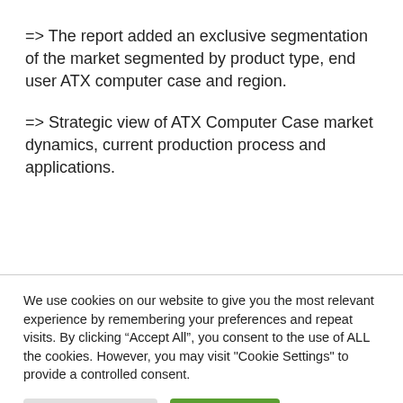=> The report added an exclusive segmentation of the market segmented by product type, end user ATX computer case and region.
=> Strategic view of ATX Computer Case market dynamics, current production process and applications.
We use cookies on our website to give you the most relevant experience by remembering your preferences and repeat visits. By clicking “Accept All”, you consent to the use of ALL the cookies. However, you may visit "Cookie Settings" to provide a controlled consent.